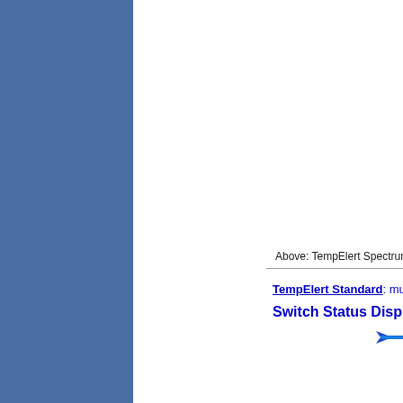[Figure (illustration): Blue sidebar panel on the left side of the page]
Above: TempElert Spectrum running on Windows 7
TempElert Standard: multiple probes, network ba…
Switch Status Display
[Figure (illustration): Blue horizontal arrow/bar graphic beneath Switch Status Display heading]